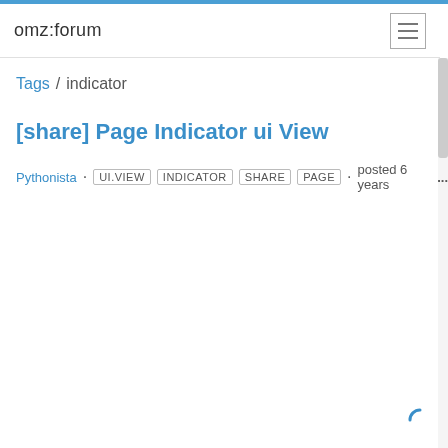omz:forum
Tags / indicator
[share] Page Indicator ui View
Pythonista · UI.VIEW INDICATOR SHARE PAGE · posted 6 years...